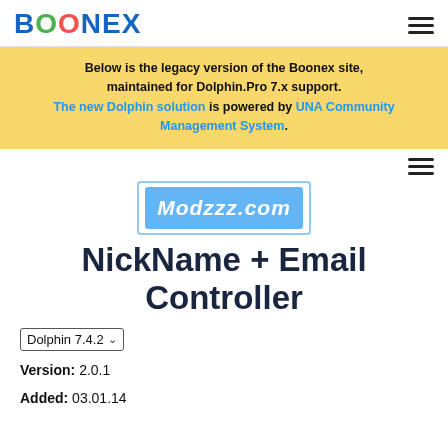BOONEX
Below is the legacy version of the Boonex site, maintained for Dolphin.Pro 7.x support. The new Dolphin solution is powered by UNA Community Management System.
[Figure (logo): Modzzz.com logo in light blue box]
NickName + Email Controller
Dolphin 7.4.2 (dropdown)
Version: 2.0.1
Added: 03.01.14